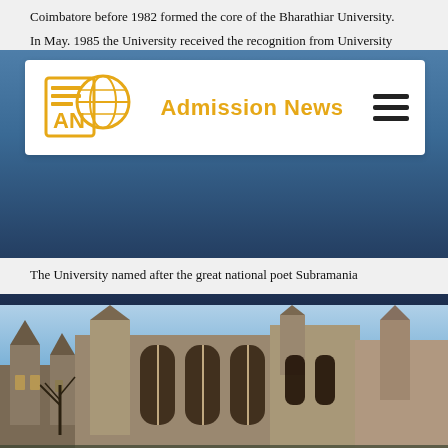Coimbatore before 1982 formed the core of the Bharathiar University.
In May. 1985 the University received the recognition from University
Admission News
The University named after the great national poet Subramania
[Figure (photo): Photo of a gothic university building with stone architecture, arched windows, spires, and bare trees in the foreground under a blue sky.]